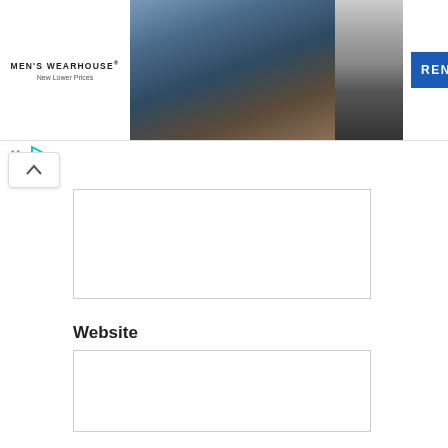[Figure (screenshot): Men's Wearhouse advertisement banner with couple in formal wear and a Rent button]
Website
Notify me of follow-up comments by email.
Notify me of new posts by email.
Post Comment